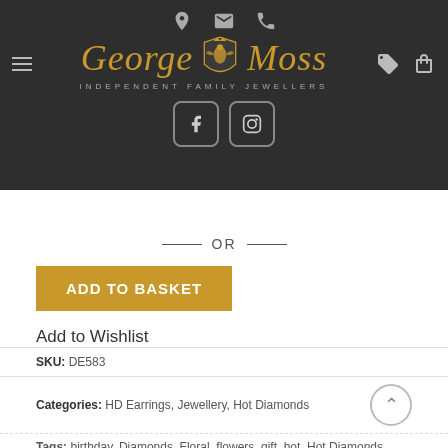George Moss Independent Family Jewellers
— OR —
ADD TO BASKET
Add to Wishlist
SKU: DE583
Categories: HD Earrings, Jewellery, Hot Diamonds
Tags: birthday, Diamonds, Floral, flowers, gift, hot, Hot Diamonds, ladies, present,